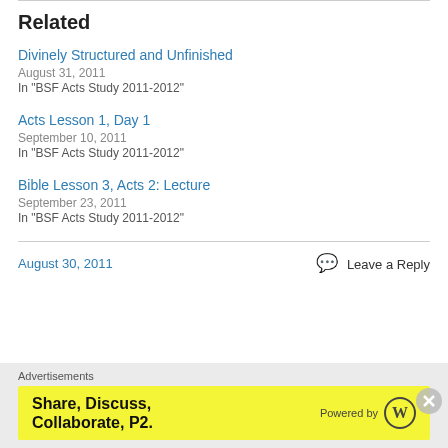Related
Divinely Structured and Unfinished
August 31, 2011
In "BSF Acts Study 2011-2012"
Acts Lesson 1, Day 1
September 10, 2011
In "BSF Acts Study 2011-2012"
Bible Lesson 3, Acts 2: Lecture
September 23, 2011
In "BSF Acts Study 2011-2012"
August 30, 2011
Leave a Reply
Advertisements
[Figure (other): Yellow advertisement banner: Share, Discuss, Collaborate, P2. Powered by WordPress logo.]